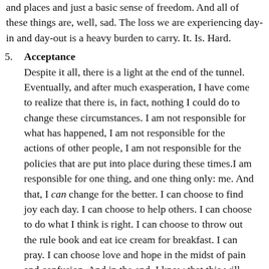and places and just a basic sense of freedom. And all of these things are, well, sad. The loss we are experiencing day-in and day-out is a heavy burden to carry. It. Is. Hard.
5. Acceptance
Despite it all, there is a light at the end of the tunnel. Eventually, and after much exasperation, I have come to realize that there is, in fact, nothing I could do to change these circumstances. I am not responsible for what has happened, I am not responsible for the actions of other people, I am not responsible for the policies that are put into place during these times.I am responsible for one thing, and one thing only: me. And that, I can change for the better. I can choose to find joy each day. I can choose to help others. I can choose to do what I think is right. I can choose to throw out the rule book and eat ice cream for breakfast. I can pray. I can choose love and hope in the midst of pain and confusion. And in the end, I know that this will make a difference. Probably not for the world, but for my world.So that is where I'm at today,